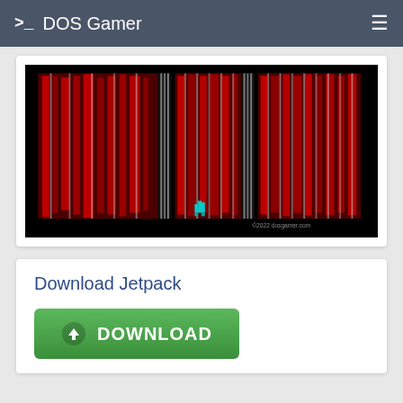>_ DOS Gamer
[Figure (screenshot): DOS game screenshot showing ASCII/pixel art style space shooter with red and black characters on black background, small cyan/teal spaceship at bottom center, watermark '©2022 dosgamer.com']
Download Jetpack
[Figure (other): Green download button with downward arrow icon and text 'DOWNLOAD']